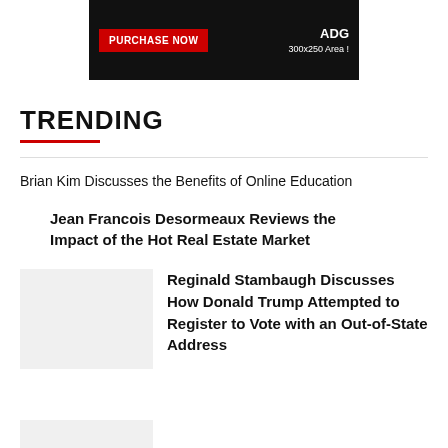[Figure (other): Advertisement banner with dark background, red PURCHASE NOW button on left and '300x250 Area!' text on right]
TRENDING
Brian Kim Discusses the Benefits of Online Education
Jean Francois Desormeaux Reviews the Impact of the Hot Real Estate Market
[Figure (photo): Placeholder image (light gray rectangle)]
Reginald Stambaugh Discusses How Donald Trump Attempted to Register to Vote with an Out-of-State Address
[Figure (photo): Partial placeholder image at bottom (light gray rectangle, partially visible)]